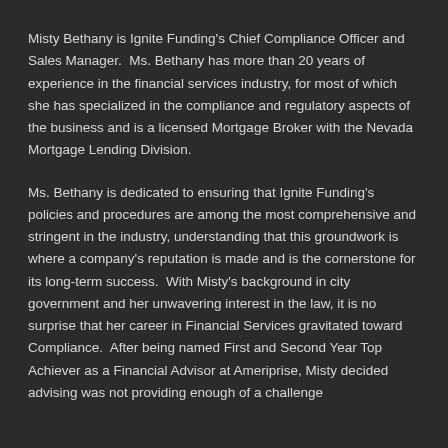Misty Bethany is Ignite Funding's Chief Compliance Officer and Sales Manager.  Ms. Bethany has more than 20 years of experience in the financial services industry, for most of which she has specialized in the compliance and regulatory aspects of the business and is a licensed Mortgage Broker with the Nevada Mortgage Lending Division.
Ms. Bethany is dedicated to ensuring that Ignite Funding's policies and procedures are among the most comprehensive and stringent in the industry, understanding that this groundwork is where a company's reputation is made and is the cornerstone for its long-term success.  With Misty's background in city government and her unwavering interest in the law, it is no surprise that her career in Financial Services gravitated toward Compliance.  After being named First and Second Year Top Achiever as a Financial Advisor at Ameriprise, Misty decided advising was not providing enough of a challenge